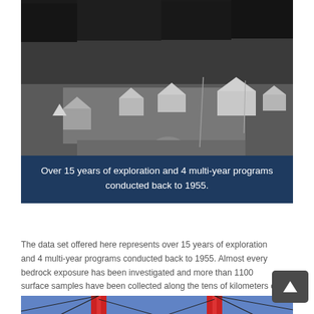[Figure (photo): Black and white aerial photograph of an exploration camp with several small buildings and tents in a forested clearing. Trees visible in background.]
Over 15 years of exploration and 4 multi-year programs conducted back to 1955.
The data set offered here represents over 15 years of exploration and 4 multi-year programs conducted back to 1955. Almost every bedrock exposure has been investigated and more than 1100 surface samples have been collected along the tens of kilometers of gossan that continuously strike the margins of the intrusion.
[Figure (photo): Partial view of a bridge structure with red support columns against a blue sky, visible at bottom of page.]